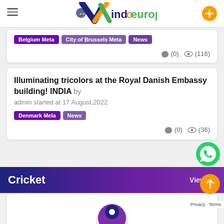indoeuropean.eu
Belgium Meta   City of Brussels Meta   News
(0) (116)
Illuminating tricolors at the Royal Danish Embassy building! INDIA by admin started at 17 August,2022
Denmark Mela   News
(0) (36)
Cricket   View All
[Figure (other): Partial view of a circular avatar/profile icon at the bottom of the page]